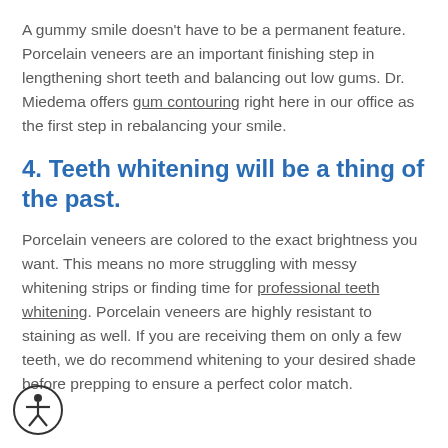A gummy smile doesn't have to be a permanent feature. Porcelain veneers are an important finishing step in lengthening short teeth and balancing out low gums. Dr. Miedema offers gum contouring right here in our office as the first step in rebalancing your smile.
4. Teeth whitening will be a thing of the past.
Porcelain veneers are colored to the exact brightness you want. This means no more struggling with messy whitening strips or finding time for professional teeth whitening. Porcelain veneers are highly resistant to staining as well. If you are receiving them on only a few teeth, we do recommend whitening to your desired shade before prepping to ensure a perfect color match.
[Figure (illustration): Accessibility icon: a circle with a stick figure person inside, arms outstretched]